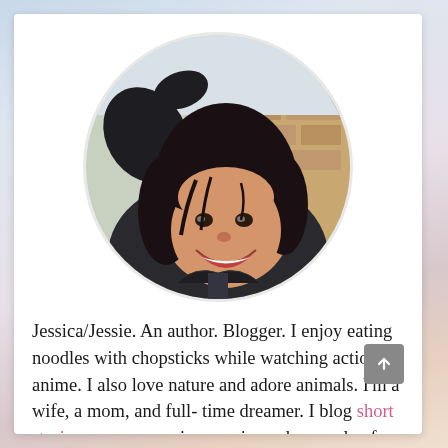[Figure (photo): Circular profile photo of a young Asian woman with dark shoulder-length hair, smiling, wearing a dark jacket, hand raised near her head, outdoor background with stone wall visible.]
Jessica/Jessie. An author. Blogger. I enjoy eating noodles with chopsticks while watching action anime. I also love nature and adore animals. I'm a wife, a mom, and full- time dreamer. I blog short stories, poems, movies, music, and a couple of other